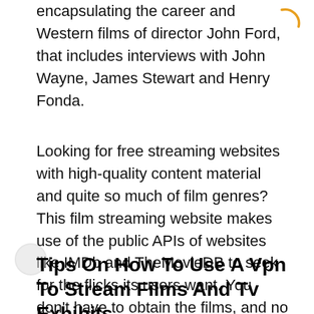encapsulating the career and Western films of director John Ford, that includes interviews with John Wayne, James Stewart and Henry Fonda.
Looking for free streaming websites with high-quality content material and quite so much of film genres? This film streaming website makes use of the public APIs of websites like IMDb and TheMovieDB to seek for the flicks its users want. You don't have to obtain the films, and no registration is required. Added to watching any movie of your alternative online free of charge, you presumably can obtain the movies and TV collection to your streaming system.
Tips On How To Use A Vpn To Stream Films And Tv Exhibits